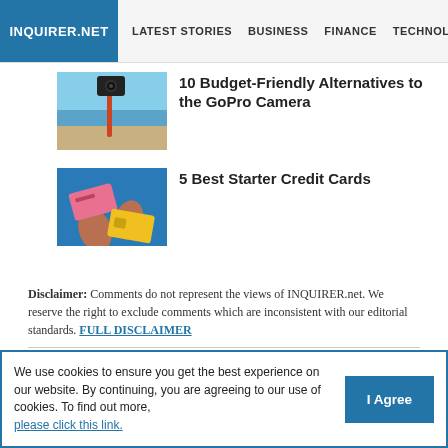INQUIRER.NET | LATEST STORIES | BUSINESS | FINANCE | TECHNOLO
[Figure (photo): Action camera on a selfie stick at a beach]
10 Budget-Friendly Alternatives to the GoPro Camera
[Figure (photo): Two hands holding credit cards against a blue background]
5 Best Starter Credit Cards
Disclaimer: Comments do not represent the views of INQUIRER.net. We reserve the right to exclude comments which are inconsistent with our editorial standards. FULL DISCLAIMER
We use cookies to ensure you get the best experience on our website. By continuing, you are agreeing to our use of cookies. To find out more, please click this link.